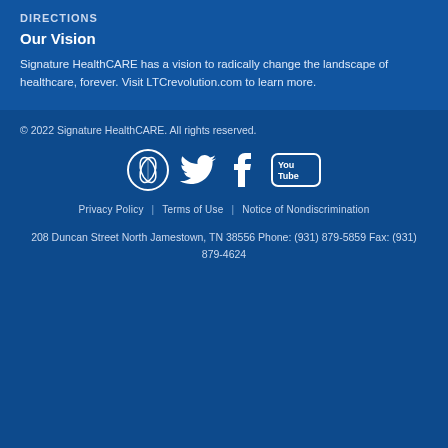DIRECTIONS
Our Vision
Signature HealthCARE has a vision to radically change the landscape of healthcare, forever. Visit LTCrevolution.com to learn more.
© 2022 Signature HealthCARE. All rights reserved.
[Figure (logo): Social media icons: Signature HealthCARE logo (leaf/prayer hands circle), Twitter bird, Facebook f, YouTube logo]
Privacy Policy | Terms of Use | Notice of Nondiscrimination
208 Duncan Street North Jamestown, TN 38556 Phone: (931) 879-5859 Fax: (931) 879-4624